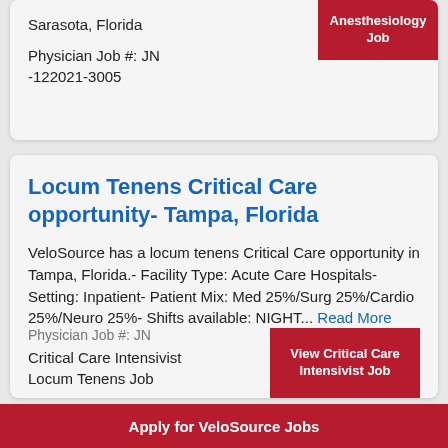Sarasota, Florida
Physician Job #: JN -122021-3005
Anesthesiology Job
Locum Tenens Critical Care opportunity- Tampa, Florida
VeloSource has a locum tenens Critical Care opportunity in Tampa, Florida.- Facility Type: Acute Care Hospitals- Setting: Inpatient- Patient Mix: Med 25%/Surg 25%/Cardio 25%/Neuro 25%- Shifts available: NIGHT... Read More
Critical Care Intensivist Locum Tenens Job
View Critical Care Intensivist Job
Apply for VeloSource Jobs
Physician Job #: JN